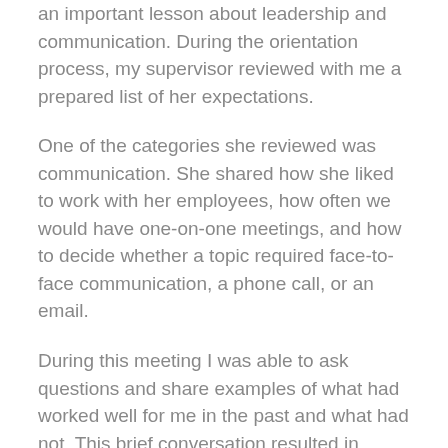an important lesson about leadership and communication. During the orientation process, my supervisor reviewed with me a prepared list of her expectations.
One of the categories she reviewed was communication. She shared how she liked to work with her employees, how often we would have one-on-one meetings, and how to decide whether a topic required face-to-face communication, a phone call, or an email.
During this meeting I was able to ask questions and share examples of what had worked well for me in the past and what had not. This brief conversation resulted in fewer conflicts, increased motivation, and greater relationship satisfaction. The return on investment was